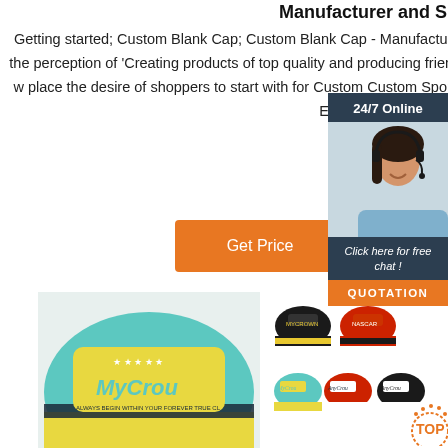Manufacturer and Supplier,
Getting started; Custom Blank Cap; Custom Blank Cap - Manufacturers, Factory, Suppliers from China. Sticking for the perception of 'Creating products of top quality and producing friends with people today from all around the world', we place the desire of shoppers to start with for Custom... Custom Sport Cap, Adjustable Drawstring Bucket Hat, Custom Eco Friendly Sun ...
Get Price
[Figure (screenshot): 24/7 Online chat widget with female agent wearing headset, 'Click here for free chat!' text, and QUOTATION button]
[Figure (photo): Close-up of a teal/turquoise custom embroidered cap with yellow brim, showing 'MyCrown' logo]
[Figure (photo): Grid of multiple custom caps in various colors with MyCrown logo, plus TOP badge]